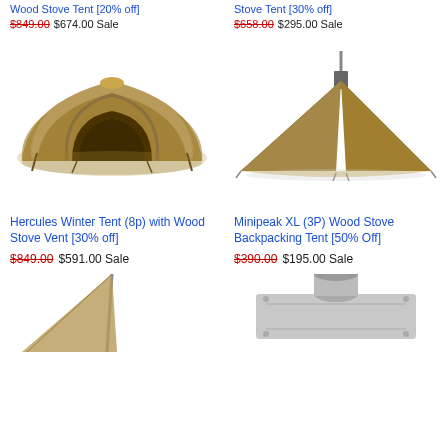Wood Stove Tent [20% off] $849.00 $674.00 Sale
Stove Tent [30% off] $658.00 $295.00 Sale
[Figure (photo): Large dome-style winter tent with wood stove vent, tan/brown color, open front entrance]
[Figure (photo): Single-pole pyramid/teepee style backpacking tent with stovepipe vent, tan color]
Hercules Winter Tent (8p) with Wood Stove Vent [30% off] $849.00 $591.00 Sale
Minipeak XL (3P) Wood Stove Backpacking Tent [50% Off] $390.00 $195.00 Sale
[Figure (photo): Partial view of tent/stove product at bottom left]
[Figure (photo): Partial view of metal stove adapter/base plate at bottom right]